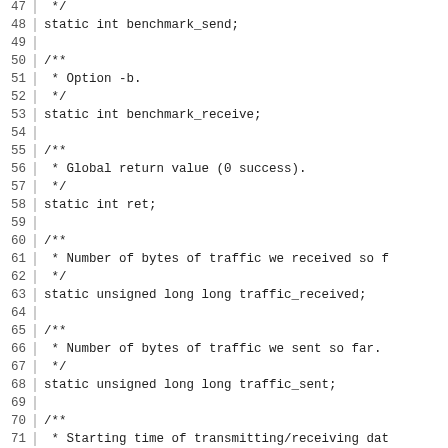Code listing lines 47-76 showing C source code with static variable declarations and Javadoc comments for benchmark_send, benchmark_receive, ret, traffic_received, traffic_sent, start_time, and a handle for current transmission request.